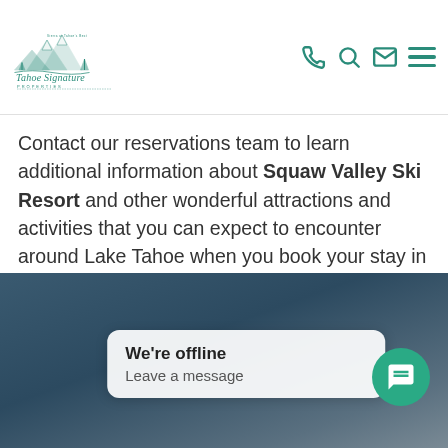Tahoe Signature Properties
Contact our reservations team to learn additional information about Squaw Valley Ski Resort and other wonderful attractions and activities that you can expect to encounter around Lake Tahoe when you book your stay in one of the elite vacation rental properties that are available through Tahoe Signature Properties today!
[Figure (screenshot): Bottom section of webpage showing a blurred dark blue/grey background image with a chat widget popup reading 'We're offline / Leave a message' and a teal circular chat button icon in the bottom right.]